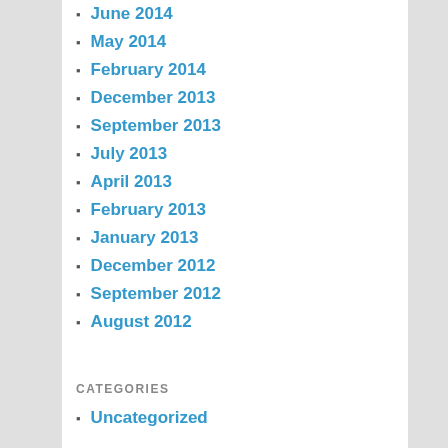June 2014
May 2014
February 2014
December 2013
September 2013
July 2013
April 2013
February 2013
January 2013
December 2012
September 2012
August 2012
CATEGORIES
Uncategorized
META
Log in
Entries feed
Comments feed
WordPress.org